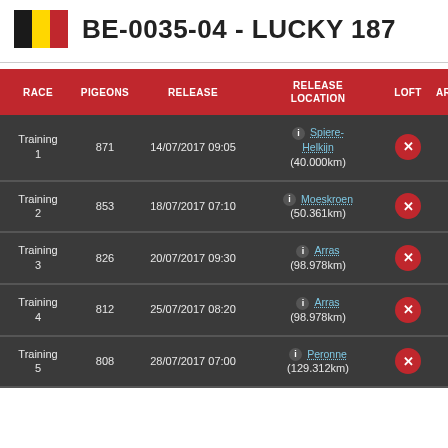BE-0035-04 - LUCKY 187
| RACE | PIGEONS | RELEASE | RELEASE LOCATION | LOFT | AR |
| --- | --- | --- | --- | --- | --- |
| Training 1 | 871 | 14/07/2017 09:05 | Spiere-Helkijn (40.000km) | ✕ |  |
| Training 2 | 853 | 18/07/2017 07:10 | Moeskroen (50.361km) | ✕ |  |
| Training 3 | 826 | 20/07/2017 09:30 | Arras (98.978km) | ✕ |  |
| Training 4 | 812 | 25/07/2017 08:20 | Arras (98.978km) | ✕ |  |
| Training 5 | 808 | 28/07/2017 07:00 | Peronne (129.312km) | ✕ |  |